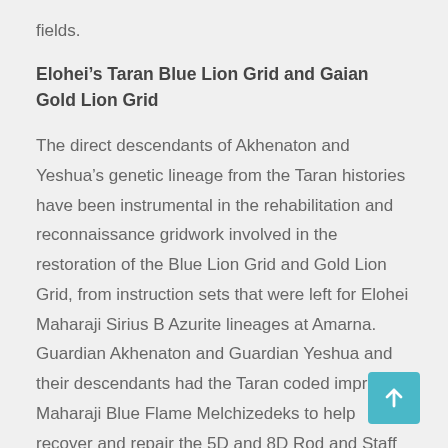fields.
Elohei’s Taran Blue Lion Grid and Gaian Gold Lion Grid
The direct descendants of Akhenaton and Yeshua’s genetic lineage from the Taran histories have been instrumental in the rehabilitation and reconnaissance gridwork involved in the restoration of the Blue Lion Grid and Gold Lion Grid, from instruction sets that were left for Elohei Maharaji Sirius B Azurite lineages at Amarna. Guardian Akhenaton and Guardian Yeshua and their descendants had the Taran coded imprint Maharaji Blue Flame Melchizedeks to help recover and repair the 5D and 8D Rod and Staff architecture